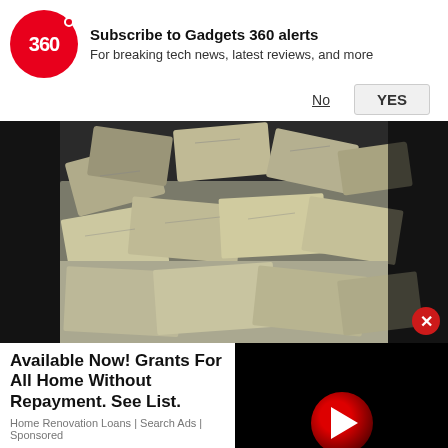[Figure (logo): Gadgets 360 red circle logo with '360' text]
Subscribe to Gadgets 360 alerts
For breaking tech news, latest reviews, and more
No
YES
[Figure (photo): Large pile of bundled US dollar bills stacked in what appears to be a vault or container — advertisement image]
[Figure (other): Red circle close/X button overlay on ad image]
Available Now! Grants For All Home Without Repayment. See List.
Home Renovation Loans | Search Ads | Sponsored
[Figure (other): Video player overlay with red play button on black background]
Latest Videos »
[Figure (screenshot): Three video thumbnail placeholders at bottom of page]